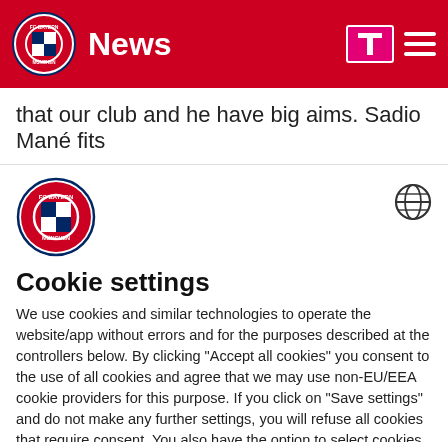News
that our club and he have big aims. Sadio Mané fits
[Figure (logo): FC Bayern München logo in cookie settings modal]
Cookie settings
We use cookies and similar technologies to operate the website/app without errors and for the purposes described at the controllers below. By clicking "Accept all cookies" you consent to the use of all cookies and agree that we may use non-EU/EEA cookie providers for this purpose. If you click on "Save settings" and do not make any further settings, you will refuse all cookies that require consent. You also have the option to select cookies individually via the controller below and click on "Save settings" or
Accept all cookies
Save settings